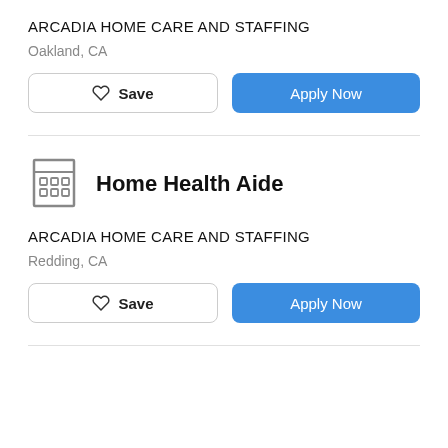ARCADIA HOME CARE AND STAFFING
Oakland, CA
Save
Apply Now
Home Health Aide
ARCADIA HOME CARE AND STAFFING
Redding, CA
Save
Apply Now